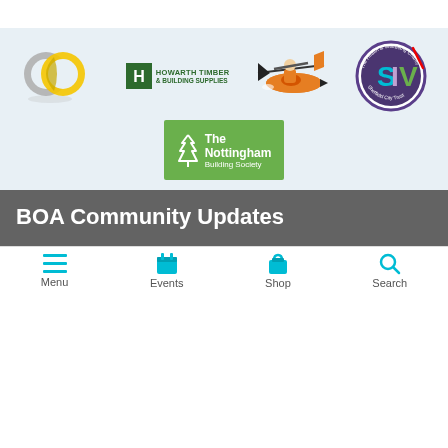[Figure (infographic): Sponsors section with logos: EO (grey and yellow interlocking circles), Howarth Timber & Building Supplies (green H logo), a kayaker athlete illustration, SIV Health & Wellbeing Charity Sheffield City Trust (circular badge), and The Nottingham Building Society (green rectangle logo)]
BOA Community Updates
Menu | Events | Shop | Search